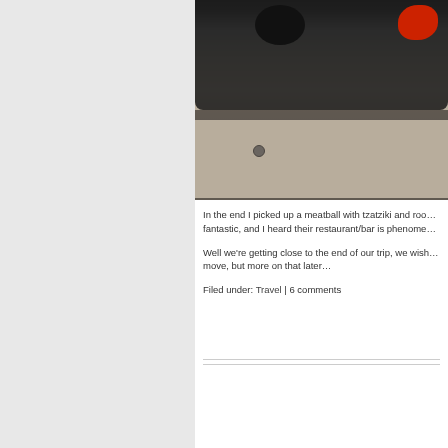[Figure (photo): Partial view of a food takeout container (black tray with food items visible including red peppers and dark items) sitting on weathered wooden planks with metal screws visible. The image is cropped at top and right edges.]
In the end I picked up a meatball with tzatziki and roo… fantastic, and I heard their restaurant/bar is phenome…
Well we're getting close to the end of our trip, we wish… move, but more on that later…
Filed under: Travel | 6 comments